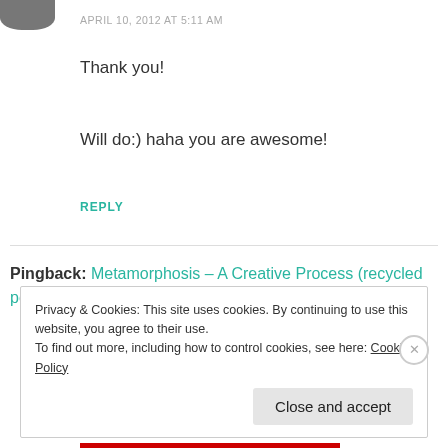[Figure (photo): Partial avatar/profile image cropped at top-left]
APRIL 10, 2012 AT 5:11 AM
Thank you!
Will do:) haha you are awesome!
REPLY
Pingback: Metamorphosis – A Creative Process (recycled post, 2011) « Calliope's Tablet
Privacy & Cookies: This site uses cookies. By continuing to use this website, you agree to their use.
To find out more, including how to control cookies, see here: Cookie Policy
Close and accept